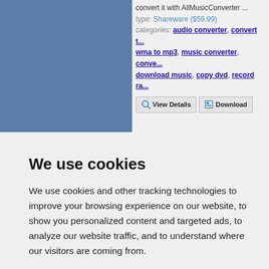[Figure (screenshot): Blue rectangle image placeholder on the left side of the top section]
convert it with AllMusicConverter ...
type: Shareware ($59.99)
categories: audio converter, convert t... wma to mp3, music converter, conve... download music, copy dvd, record ra...
We use cookies
We use cookies and other tracking technologies to improve your browsing experience on our website, to show you personalized content and targeted ads, to analyze our website traffic, and to understand where our visitors are coming from.
I agree    Change my preferences